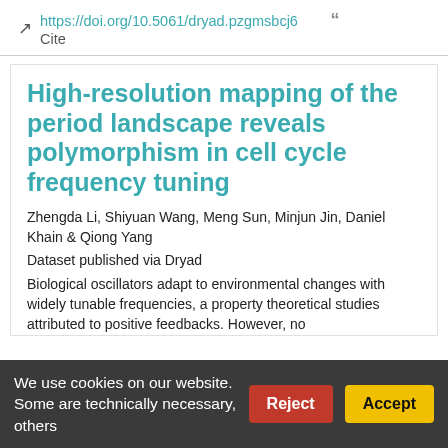https://doi.org/10.5061/dryad.pzgmsbcj6  Cite
High-resolution mapping of the period landscape reveals polymorphism in cell cycle frequency tuning
Zhengda Li, Shiyuan Wang, Meng Sun, Minjun Jin, Daniel Khain & Qiong Yang
Dataset published via Dryad
Biological oscillators adapt to environmental changes with widely tunable frequencies, a property theoretical studies attributed to positive feedbacks. However, no
We use cookies on our website. Some are technically necessary, others
Reject
Accept